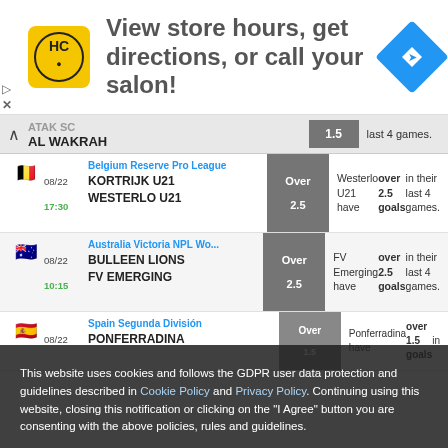[Figure (screenshot): Advertisement banner: HC logo (yellow), text 'View store hours, get directions, or call your salon!', blue navigation diamond icon]
ATAK SC / AL WAKRAH - last 4 games. (collapsed row with 1.5 badge)
Belgium Reserve Pro League | 08/22 17:30 | KORTRIJK U21 vs WESTERLO U21 | Over 2.5 | Westerlo U21 have over 2.5 goals in their last 4 games.
Australia Victoria NPL Wo... | 08/22 10:15 | BULLEEN LIONS vs FV EMERGING | Over 2.5 | FV Emerging have over 2.5 goals in their last 4 games.
Spain Segunda División | 08/22 | PONFERRADINA | Over 1.5 | Ponferradina have over 1.5 goals in their last 4 games.
This website uses cookies and follows the GDPR user data protection and guidelines described in Cookie Policy and Privacy Policy. Continuing using this website, closing this notification or clicking on the "I Agree" button you are consenting with the above policies, rules and guidelines.